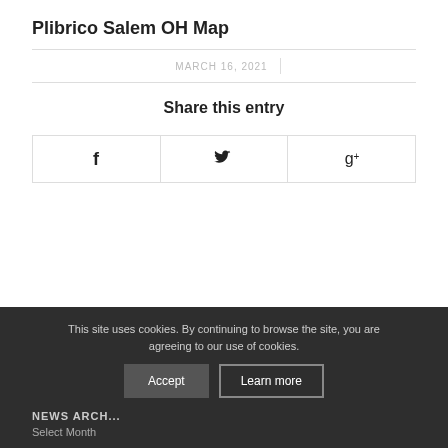Plibrico Salem OH Map
MARCH 16, 2021
Share this entry
[Figure (other): Three social share buttons: Facebook (f), Twitter (bird icon), Google Plus (g+)]
This site uses cookies. By continuing to browse the site, you are agreeing to our use of cookies.
Accept  Learn more
NEWS ARCH...
Select Month